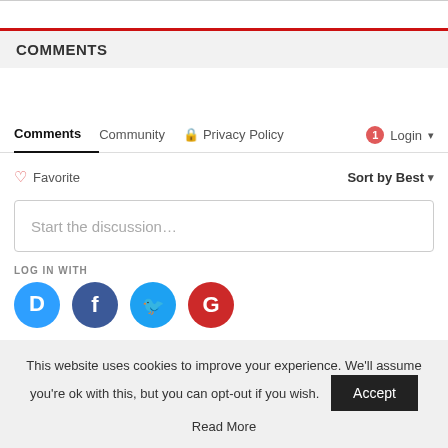COMMENTS
Comments  Community  Privacy Policy  Login
Favorite  Sort by Best
Start the discussion…
LOG IN WITH
[Figure (logo): Social login icons: Disqus (blue), Facebook (dark blue), Twitter (cyan), Google (red)]
This website uses cookies to improve your experience. We'll assume you're ok with this, but you can opt-out if you wish.
Accept
Read More